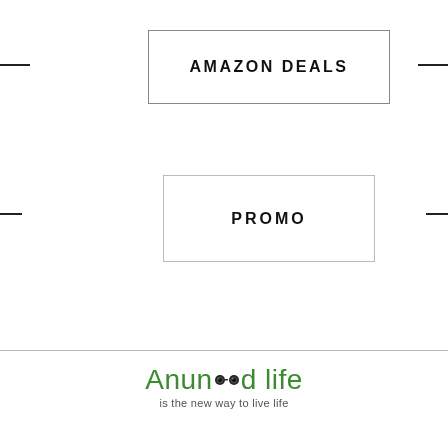AMAZON DEALS
PROMO
[Figure (logo): Anunoad life logo with camera lens icon replacing 'oo' in Anunoad, tagline: is the new way to live life]